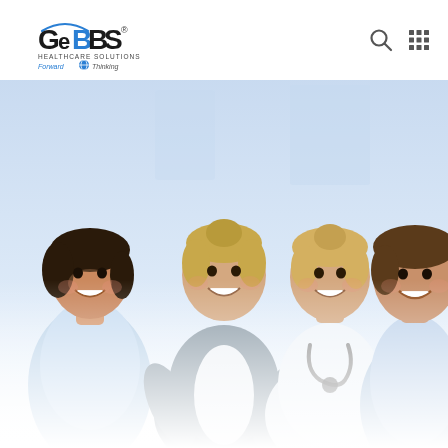[Figure (logo): GeBBS Healthcare Solutions logo with arc/swoosh above the lettering, subtitle 'HEALTHCARE SOLUTIONS', tagline 'Forward Thinking' with globe icon]
[Figure (photo): Four smiling healthcare professionals (three in scrubs/lab coats and one in business attire) gathered together in a bright clinical setting, fading to white at the bottom]